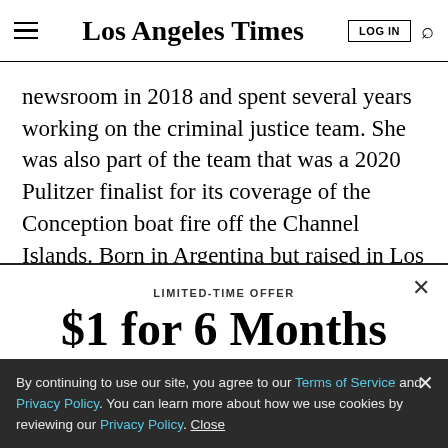Los Angeles Times
newsroom in 2018 and spent several years working on the criminal justice team. She was also part of the team that was a 2020 Pulitzer finalist for its coverage of the Conception boat fire off the Channel Islands. Born in Argentina but raised in Los Angeles, Miller is a
LIMITED-TIME OFFER
$1 for 6 Months
SUBSCRIBE NOW
By continuing to use our site, you agree to our Terms of Service and Privacy Policy. You can learn more about how we use cookies by reviewing our Privacy Policy. Close